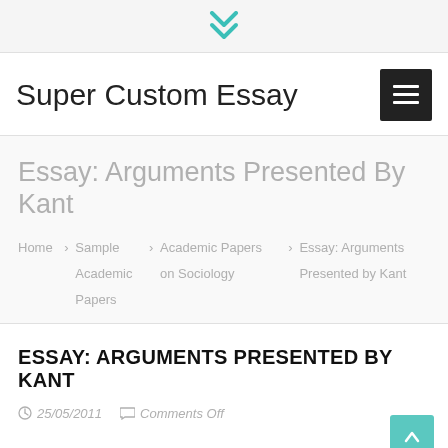Super Custom Essay
Essay: Arguments Presented By Kant
Home › Sample Academic Papers › Academic Papers on Sociology › Essay: Arguments Presented by Kant
ESSAY: ARGUMENTS PRESENTED BY KANT
25/05/2011   Comments Off